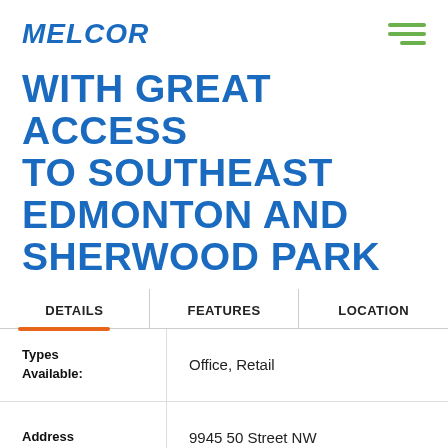MELCOR
WITH GREAT ACCESS TO SOUTHEAST EDMONTON AND SHERWOOD PARK
| DETAILS | FEATURES | LOCATION |
| --- | --- | --- |
| Types Available: | Office, Retail |  |
| Address | 9945 50 Street NW |  |